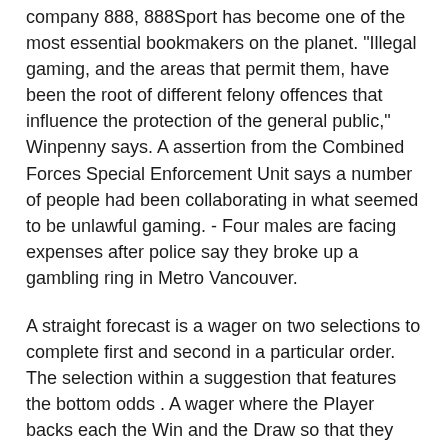company 888, 888Sport has become one of the most essential bookmakers on the planet. “Illegal gaming, and the areas that permit them, have been the root of different felony offences that influence the protection of the general public," Winpenny says. A assertion from the Combined Forces Special Enforcement Unit says a number of people had been collaborating in what seemed to be unlawful gaming. - Four males are facing expenses after police say they broke up a gambling ring in Metro Vancouver.
A straight forecast is a wager on two selections to complete first and second in a particular order. The selection within a suggestion that features the bottom odds . A wager where the Player backs each the Win and the Draw so that they revenue from a Win and break even from the Draw end result. Cash Out is a tool that gives bettors the power to manage their danger.
He felt he and Waugh had efficiently put strain on the